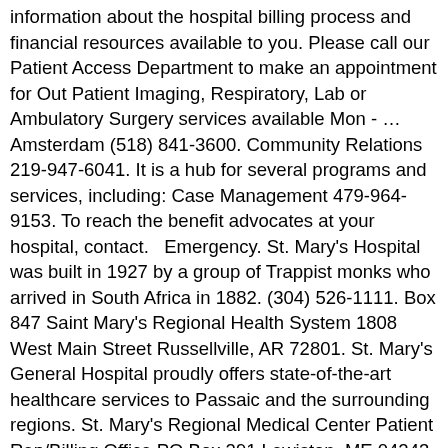information about the hospital billing process and financial resources available to you. Please call our Patient Access Department to make an appointment for Out Patient Imaging, Respiratory, Lab or Ambulatory Surgery services available Mon - … Amsterdam (518) 841-3600. Community Relations 219-947-6041. It is a hub for several programs and services, including: Case Management 479-964-9153. To reach the benefit advocates at your hospital, contact.   Emergency. St. Mary's Hospital was built in 1927 by a group of Trappist monks who arrived in South Africa in 1882. (304) 526-1111. Box 847 Saint Mary's Regional Health System 1808 West Main Street Russellville, AR 72801. St. Mary's General Hospital proudly offers state-of-the-art healthcare services to Passaic and the surrounding regions. St. Mary's Regional Medical Center Patient Rep/Billing Office PO Box 291 Lewiston, ME 04243-9971. Montreal (Quebec) H3T 1M5 St. Mary's Regional Medical Center Patient Rep/Billing Office PO Box 291 Lewiston, ME 04243-9971. St. Mary's Patient Advocacy: 804-287-7443 Central Scheduling: 804-627-5660 Patient Billing